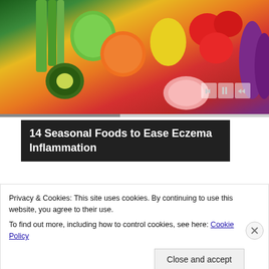[Figure (photo): Colorful assortment of fresh fruits and vegetables including green celery, apples, kiwi, oranges, yellow peppers, tomatoes, grapefruit, and purple eggplant]
14 Seasonal Foods to Ease Eczema Inflammation
[Figure (photo): Portrait of a blonde woman with red lipstick against a gray background]
The 5 Books To Read To Transform Your Life in 2022
Blinkist
Privacy & Cookies: This site uses cookies. By continuing to use this website, you agree to their use.
To find out more, including how to control cookies, see here: Cookie Policy
Close and accept